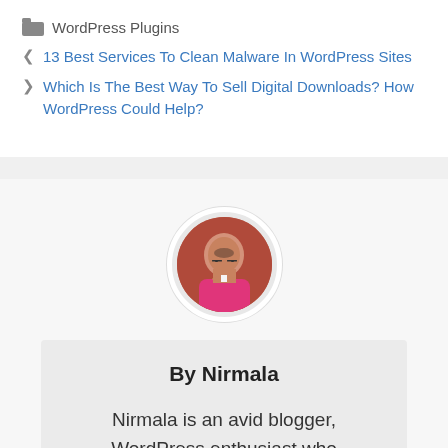WordPress Plugins
< 13 Best Services To Clean Malware In WordPress Sites
> Which Is The Best Way To Sell Digital Downloads? How WordPress Could Help?
[Figure (photo): Circular profile photo of Nirmala, a woman wearing glasses and a pink top]
By Nirmala
Nirmala is an avid blogger, WordPress enthusiast who